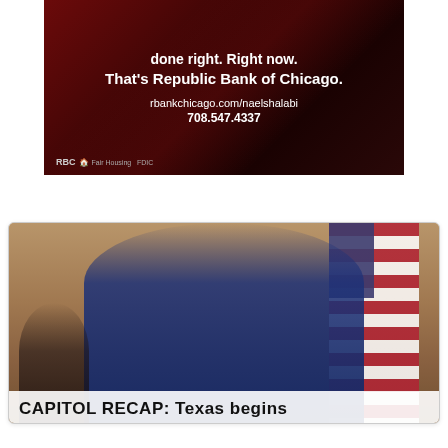[Figure (photo): Advertisement banner for Republic Bank of Chicago on a dark red/maroon background. Text reads: 'done right. Right now. That's Republic Bank of Chicago. rbankchicago.com/naelshalabi 708.547.4337'. Small logos at bottom left.]
[Figure (photo): News article card with photo of a man in a dark blue suit speaking at a podium/microphone with an American flag in the background. A woman in a mask is partially visible on the left. Caption overlay reads 'CAPITOL RECAP: Texas begins']